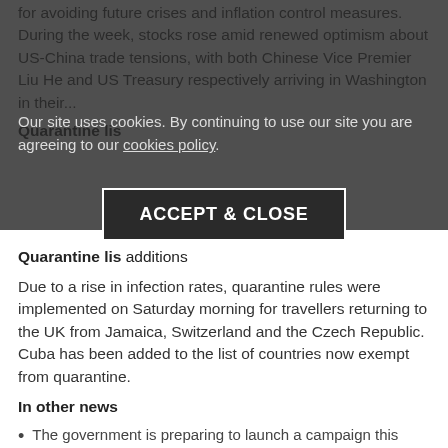for avoiding future crises and inflation control measures. During the week, stocks rose amid renewed optimism about US-China trade tensions, with both Chinese Vice Premier Liu He and US Treasury respectively arriving in Washington in their...
[Figure (screenshot): Cookie consent overlay with semi-transparent dark background, cookie notice text reading 'Our site uses cookies. By continuing to use our site you are agreeing to our cookies policy.' and an ACCEPT & CLOSE button with white border on dark background]
Quarantine lis... additions
Due to a rise in infection rates, quarantine rules were implemented on Saturday morning for travellers returning to the UK from Jamaica, Switzerland and the Czech Republic. Cuba has been added to the list of countries now exempt from quarantine.
In other news
The government is preparing to launch a campaign this week aimed at encouraging employees back to their workplaces
Lockdown restrictions in parts of Greater Manchester, Lancashire and West Yorkshire will be lifted on 2